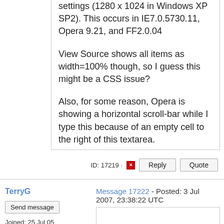settings (1280 x 1024 in Windows XP SP2). This occurs in IE7.0.5730.11, Opera 9.21, and FF2.0.04

View Source shows all items as width=100% though, so I guess this might be a CSS issue?

Also, for some reason, Opera is showing a horizontal scroll-bar while I type this because of an empty cell to the right of this textarea.
ID: 17219
TerryG
Message 17222 - Posted: 3 Jul 2007, 23:38:22 UTC
Send message
Joined: 25 Jul 05